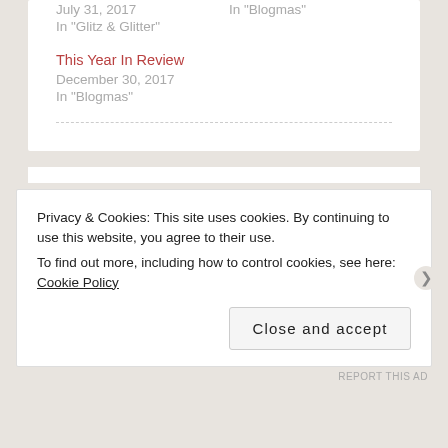July 31, 2017
In "Glitz & Glitter"
In "Blogmas"
This Year In Review
December 30, 2017
In "Blogmas"
Privacy & Cookies: This site uses cookies. By continuing to use this website, you agree to their use.
To find out more, including how to control cookies, see here: Cookie Policy
Close and accept